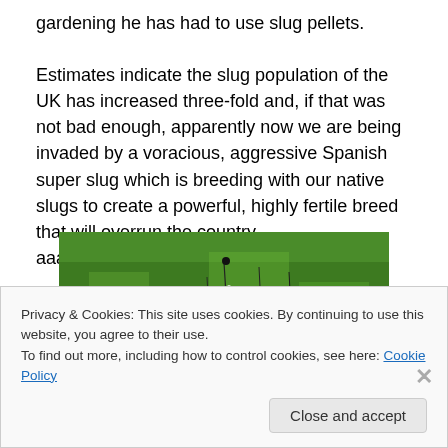gardening he has had to use slug pellets.

Estimates indicate the slug population of the UK has increased three-fold and, if that was not bad enough, apparently now we are being invaded by a voracious, aggressive Spanish super slug which is breeding with our native slugs to create a powerful, highly fertile breed that will overrun the country…aaaarrrrggggghhhh!
[Figure (photo): A photograph of a green grassy field with small white wildflowers and thin dark stems visible against the grass.]
Privacy & Cookies: This site uses cookies. By continuing to use this website, you agree to their use.
To find out more, including how to control cookies, see here: Cookie Policy

Close and accept